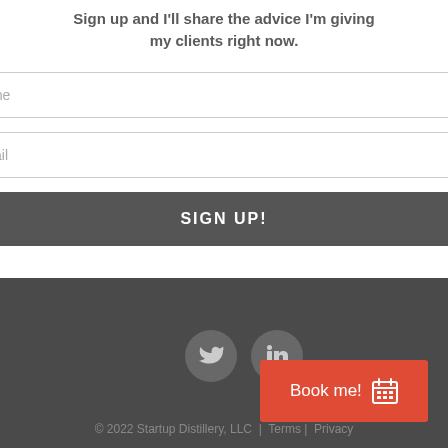Sign up and I'll share the advice I'm giving my clients right now.
[Figure (screenshot): Name input field placeholder]
[Figure (screenshot): Email input field placeholder]
SIGN UP!
[Figure (illustration): Twitter and LinkedIn social icon circles]
Book me! 📅
© 2022 Startup Distillery, LLC  |  Terms |  Privacy